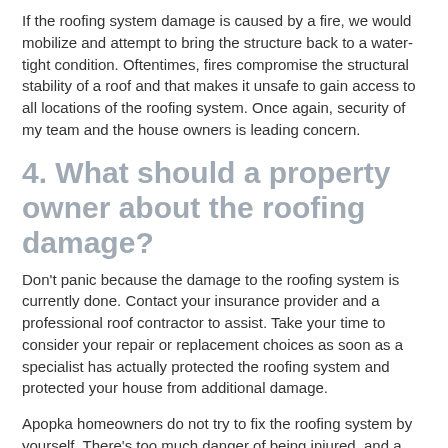If the roofing system damage is caused by a fire, we would mobilize and attempt to bring the structure back to a water-tight condition. Oftentimes, fires compromise the structural stability of a roof and that makes it unsafe to gain access to all locations of the roofing system. Once again, security of my team and the house owners is leading concern.
4. What should a property owner about the roofing damage?
Don't panic because the damage to the roofing system is currently done. Contact your insurance provider and a professional roof contractor to assist. Take your time to consider your repair or replacement choices as soon as a specialist has actually protected the roofing system and protected your house from additional damage.
Apopka homeowners do not try to fix the roofing system by yourself. There's too much danger of being injured, and a property owner will not correctly assess the real damage. Roofings and ceilings can be fixed quickly,